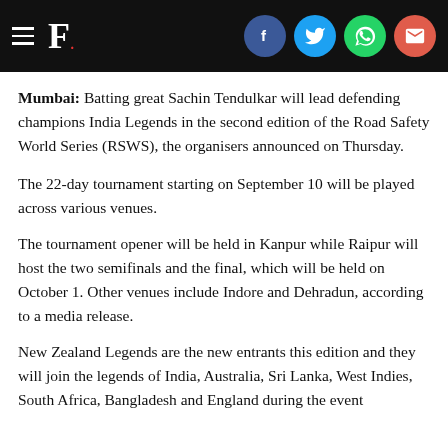F. [logo with social icons: Facebook, Twitter, WhatsApp, Email]
Mumbai: Batting great Sachin Tendulkar will lead defending champions India Legends in the second edition of the Road Safety World Series (RSWS), the organisers announced on Thursday.
The 22-day tournament starting on September 10 will be played across various venues.
The tournament opener will be held in Kanpur while Raipur will host the two semifinals and the final, which will be held on October 1. Other venues include Indore and Dehradun, according to a media release.
New Zealand Legends are the new entrants this edition and they will join the legends of India, Australia, Sri Lanka, West Indies, South Africa, Bangladesh and England during the event